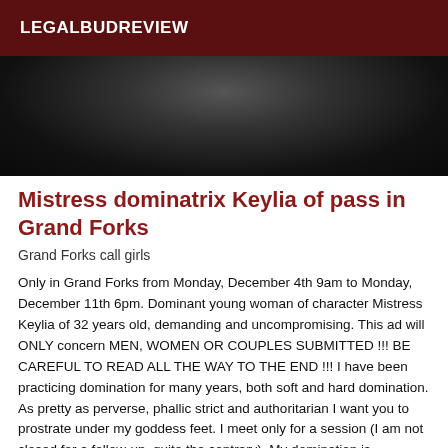LEGALBUDREVIEW
[Figure (photo): Dark photo, partially visible, appears to be a person in dim lighting]
Mistress dominatrix Keylia of pass in Grand Forks
Grand Forks call girls
Only in Grand Forks from Monday, December 4th 9am to Monday, December 11th 6pm. Dominant young woman of character Mistress Keylia of 32 years old, demanding and uncompromising. This ad will ONLY concern MEN, WOMEN OR COUPLES SUBMITTED !!! BE CAREFUL TO READ ALL THE WAY TO THE END !!! I have been practicing domination for many years, both soft and hard domination. As pretty as perverse, phallic strict and authoritarian I want you to prostrate under my goddess feet. I meet only for a session (I am not closed for a follow-up, quite the contrary). My domination is